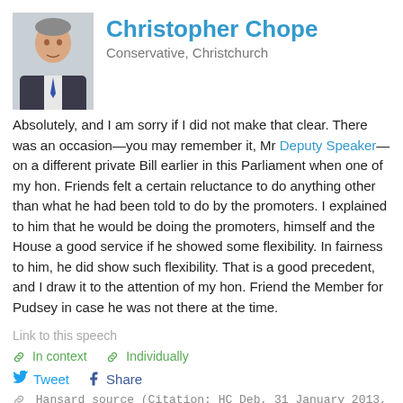Christopher Chope
Conservative, Christchurch
Absolutely, and I am sorry if I did not make that clear. There was an occasion—you may remember it, Mr Deputy Speaker—on a different private Bill earlier in this Parliament when one of my hon. Friends felt a certain reluctance to do anything other than what he had been told to do by the promoters. I explained to him that he would be doing the promoters, himself and the House a good service if he showed some flexibility. In fairness to him, he did show such flexibility. That is a good precedent, and I draw it to the attention of my hon. Friend the Member for Pudsey in case he was not there at the time.
Link to this speech
In context   Individually
Tweet  Share
Hansard source (Citation: HC Deb, 31 January 2013, c1097)
Philip Davies
Conservative, Shipley